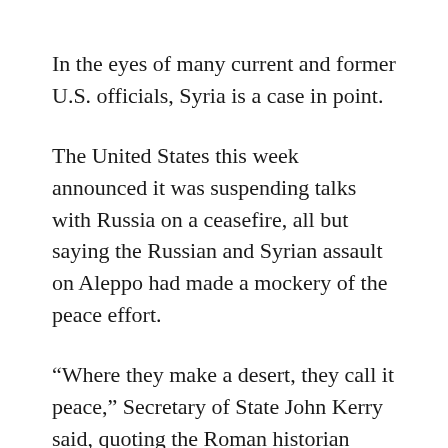In the eyes of many current and former U.S. officials, Syria is a case in point.
The United States this week announced it was suspending talks with Russia on a ceasefire, all but saying the Russian and Syrian assault on Aleppo had made a mockery of the peace effort.
“Where they make a desert, they call it peace,” Secretary of State John Kerry said, quoting the Roman historian Tacitus.
Analysts believe Aleppo is likely to fall but the war, now